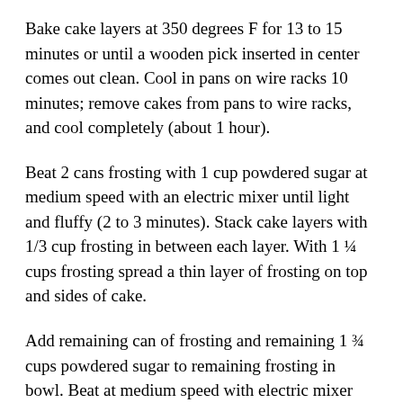Bake cake layers at 350 degrees F for 13 to 15 minutes or until a wooden pick inserted in center comes out clean. Cool in pans on wire racks 10 minutes; remove cakes from pans to wire racks, and cool completely (about 1 hour).
Beat 2 cans frosting with 1 cup powdered sugar at medium speed with an electric mixer until light and fluffy (2 to 3 minutes). Stack cake layers with 1/3 cup frosting in between each layer. With 1 ¼ cups frosting spread a thin layer of frosting on top and sides of cake.
Add remaining can of frosting and remaining 1 ¾ cups powdered sugar to remaining frosting in bowl. Beat at medium speed with electric mixer until light and fluffy (2 to 3 minutes). Divide frosting into 3 bowls. Tint 3 bowls...